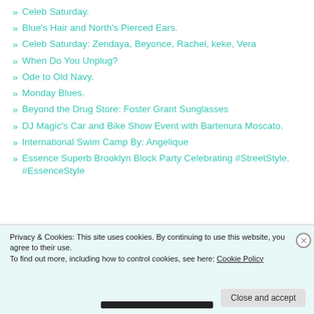Celeb Saturday.
Blue's Hair and North's Pierced Ears.
Celeb Saturday: Zendaya, Beyonce, Rachel, keke, Vera
When Do You Unplug?
Ode to Old Navy.
Monday Blues.
Beyond the Drug Store: Foster Grant Sunglasses
DJ Magic's Car and Bike Show Event with Bartenura Moscato.
International Swim Camp By: Angelique
Essence Superb Brooklyn Block Party Celebrating #StreetStyle. #EssenceStyle
Privacy & Cookies: This site uses cookies. By continuing to use this website, you agree to their use.
To find out more, including how to control cookies, see here: Cookie Policy
Close and accept